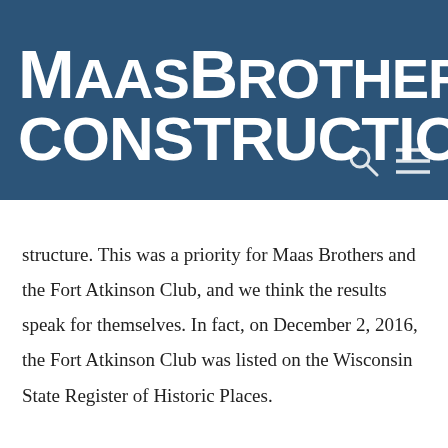[Figure (logo): Maas Brothers Construction company logo — white bold text on dark blue background reading 'MAAS BROTHERS CONSTRUCTION' with search and menu icons in lower right]
structure. This was a priority for Maas Brothers and the Fort Atkinson Club, and we think the results speak for themselves. In fact, on December 2, 2016, the Fort Atkinson Club was listed on the Wisconsin State Register of Historic Places.
Maas Brothers Construction is proud to have helped restore this historic building, so it can continue to serve generations of visitors. Now operating as a